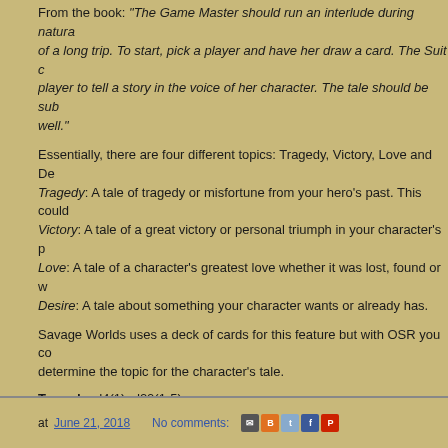From the book: "The Game Master should run an interlude during natura... of a long trip. To start, pick a player and have her draw a card. The Suit ... player to tell a story in the voice of her character. The tale should be sub... well."
Essentially, there are four different topics: Tragedy, Victory, Love and De... Tragedy: A tale of tragedy or misfortune from your hero's past. This could... Victory: A tale of a great victory or personal triumph in your character's p... Love: A tale of a character's greatest love whether it was lost, found or w... Desire: A tale about something your character wants or already has.
Savage Worlds uses a deck of cards for this feature but with OSR you co... determine the topic for the character's tale.
Tragedy: d4(1); d20(1-5)
Victory: d4(2); d20(6-10)
Love: d4(3); d20(11-15)
Desire: d4(4); d20(16-20)
This would also be a nice "trick" you, the GM, could use when your playe... and decide or roll to determine which player will be telling the tale. This c...
at June 21, 2018   No comments: